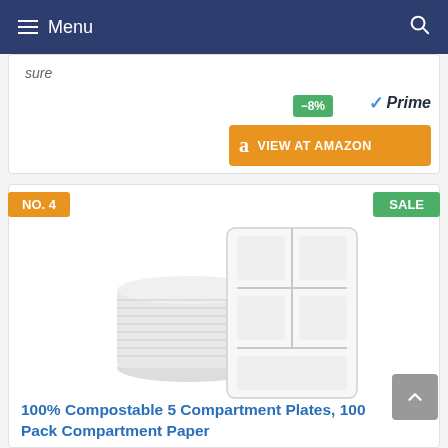Menu
sure
-8%
Prime
VIEW AT AMAZON
NO. 4
SALE
[Figure (photo): Stack of white compostable 5-compartment plates/trays, showing a stack from the side and one tray face-up displaying the compartments]
100% Compostable 5 Compartment Plates, 100 Pack Compartment Paper